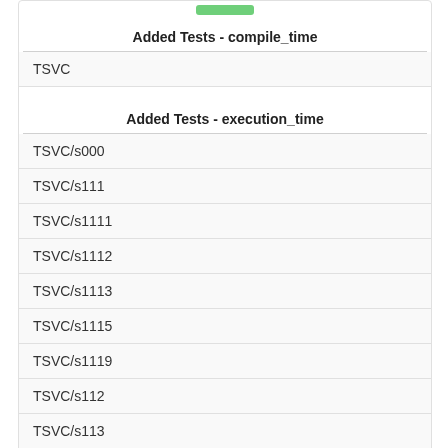Added Tests - compile_time
TSVC
Added Tests - execution_time
TSVC/s000
TSVC/s111
TSVC/s1111
TSVC/s1112
TSVC/s1113
TSVC/s1115
TSVC/s1119
TSVC/s112
TSVC/s113
TSVC/s114
TSVC/s115